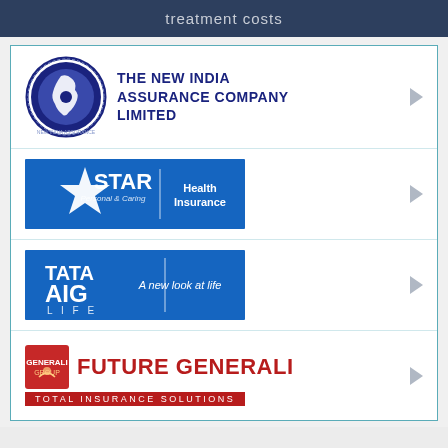treatment costs
[Figure (logo): The New India Assurance Company Limited logo with circular emblem]
[Figure (logo): Star Health Insurance logo - blue banner with star icon, Personal & Caring tagline]
[Figure (logo): TATA AIG Life Insurance logo - blue banner with text 'A new look at life']
[Figure (logo): Future Generali Total Insurance Solutions logo]
NEWSLETTER
Subscribe to our weekly Newsletter and stay tuned to all our updates.